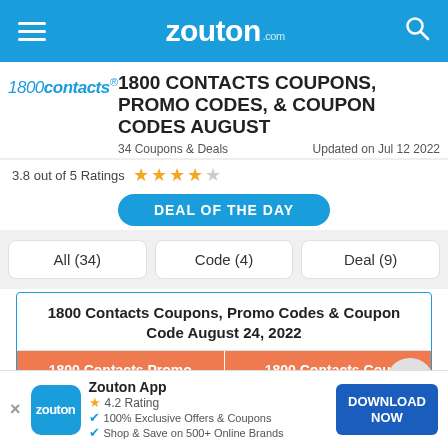zouton.com
1800 CONTACTS COUPONS, PROMO CODES, & COUPON CODES AUGUST
34 Coupons & Deals   Updated on Jul 12 2022
3.8 out of 5 Ratings ★★★★☆
DEAL OF THE DAY
All (34)
Code (4)
Deal (9)
1800 Contacts Coupons, Promo Codes & Coupon Code August 24, 2022
| 1800 Contacts Promo Codes | 1800 Contacts Coupon Details |
| --- | --- |
| DEAL | $10 Off On Orders Above |
Zouton App
4.2 Rating
✔ 100% Exclusive Offers & Coupons
✔ Shop & Save on 500+ Online Brands
DOWNLOAD NOW